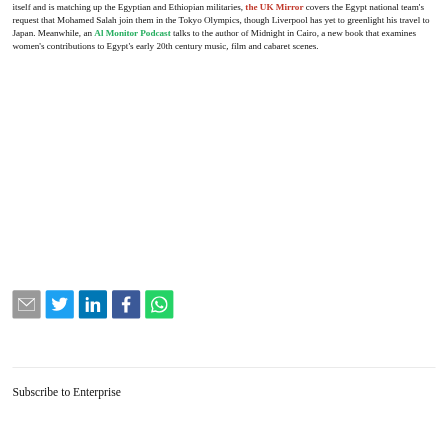itself and is matching up the Egyptian and Ethiopian militaries, the UK Mirror covers the Egypt national team's request that Mohamed Salah join them in the Tokyo Olympics, though Liverpool has yet to greenlight his travel to Japan. Meanwhile, an Al Monitor Podcast talks to the author of Midnight in Cairo, a new book that examines women's contributions to Egypt's early 20th century music, film and cabaret scenes.
[Figure (other): Social sharing icons: email (grey), Twitter (blue), LinkedIn (dark blue), Facebook (dark blue), WhatsApp (green)]
Subscribe to Enterprise